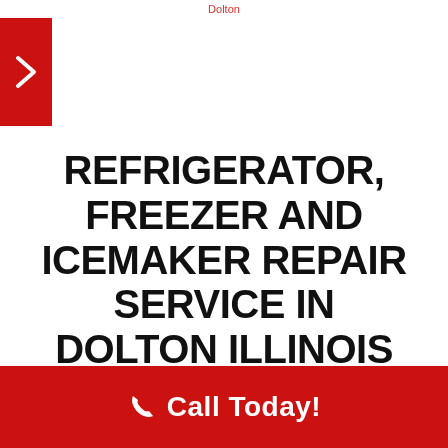Dolton
REFRIGERATOR, FREEZER AND ICEMAKER REPAIR SERVICE IN DOLTON ILLINOIS
[Figure (photo): A stainless steel side-by-side refrigerator/freezer with dispenser panel on the left door]
Call Today!